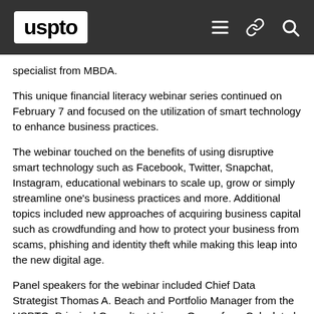USPTO
specialist from MBDA.
This unique financial literacy webinar series continued on February 7 and focused on the utilization of smart technology to enhance business practices.
The webinar touched on the benefits of using disruptive smart technology such as Facebook, Twitter, Snapchat, Instagram, educational webinars to scale up, grow or simply streamline one's business practices and more. Additional topics included new approaches of acquiring business capital such as crowdfunding and how to protect your business from scams, phishing and identity theft while making this leap into the new digital age.
Panel speakers for the webinar included Chief Data Strategist Thomas A. Beach and Portfolio Manager from the USPTO; Principal Consultant Isioma Orewa from Calculated Market Inc.; Special Counsel Jennifer Riegel from the Office of Small Business Policy, Division of Corporation Finance, U.S.